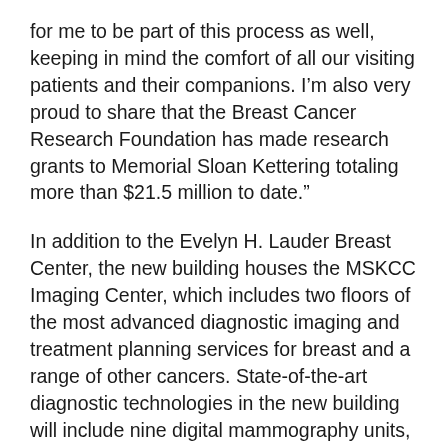for me to be part of this process as well, keeping in mind the comfort of all our visiting patients and their companions. I’m also very proud to share that the Breast Cancer Research Foundation has made research grants to Memorial Sloan Kettering totaling more than $21.5 million to date.”
In addition to the Evelyn H. Lauder Breast Center, the new building houses the MSKCC Imaging Center, which includes two floors of the most advanced diagnostic imaging and treatment planning services for breast and a range of other cancers. State-of-the-art diagnostic technologies in the new building will include nine digital mammography units, one stereotactic biopsy unit, as well as two 64-slice CT scanners, one SPECT/CT scanner, three MRI scanners, and a PET/CT scanner.